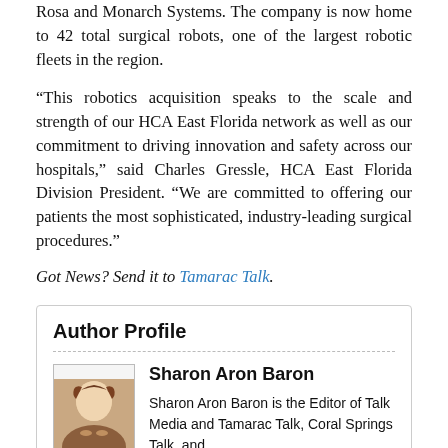Rosa and Monarch Systems. The company is now home to 42 total surgical robots, one of the largest robotic fleets in the region.
“This robotics acquisition speaks to the scale and strength of our HCA East Florida network as well as our commitment to driving innovation and safety across our hospitals,” said Charles Gressle, HCA East Florida Division President. “We are committed to offering our patients the most sophisticated, industry-leading surgical procedures.”
Got News? Send it to Tamarac Talk.
Author Profile
Sharon Aron Baron
Sharon Aron Baron is the Editor of Talk Media and Tamarac Talk, Coral Springs Talk, and